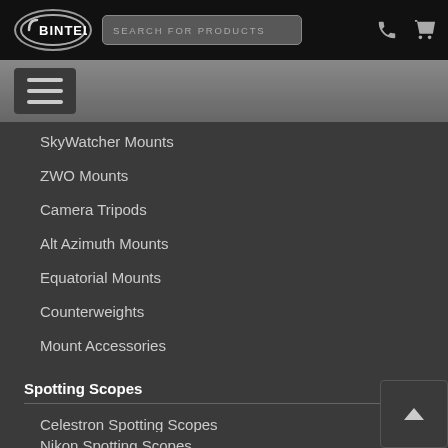BINTEL — SEARCH FOR PRODUCTS
SkyWatcher Mounts
ZWO Mounts
Camera Tripods
Alt Azimuth Mounts
Equatorial Mounts
Counterweights
Mount Accessories
Spotting Scopes
Celestron Spotting Scopes
Nikon Spotting Scopes